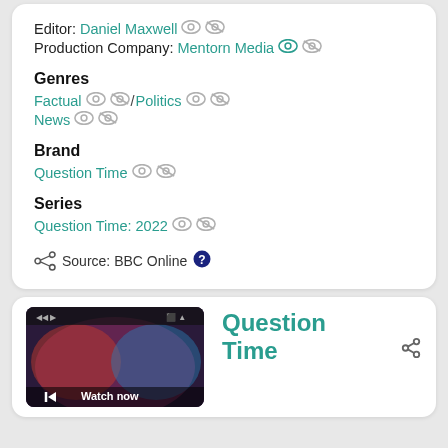Editor: Daniel Maxwell
Production Company: Mentorn Media
Genres
Factual / Politics
News
Brand
Question Time
Series
Question Time: 2022
Source: BBC Online
Question Time